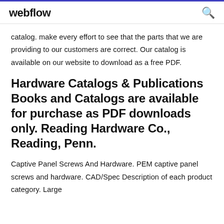webflow
catalog. make every effort to see that the parts that we are providing to our customers are correct. Our catalog is available on our website to download as a free PDF.
Hardware Catalogs & Publications Books and Catalogs are available for purchase as PDF downloads only. Reading Hardware Co., Reading, Penn.
Captive Panel Screws And Hardware. PEM captive panel screws and hardware. CAD/Spec Description of each product category. Large